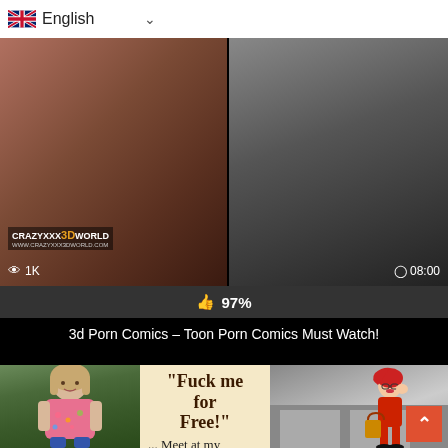[Figure (screenshot): Language selector bar showing UK flag and 'English' with dropdown arrow]
[Figure (screenshot): Two video thumbnails side by side. Left thumbnail shows adult content with logo overlay 'CRAZYXXX3DWORLD' and views badge '1K'. Right thumbnail shows adult content with duration '08:00'.]
👍 97%
3d Porn Comics – Toon Porn Comics Must Watch!
[Figure (screenshot): Advertisement banner with photo of a woman outdoors, text panel reading '"Fuck me for Free!" ... Meet at my house :)' and a cartoon illustration on the right with a scroll-to-top button]